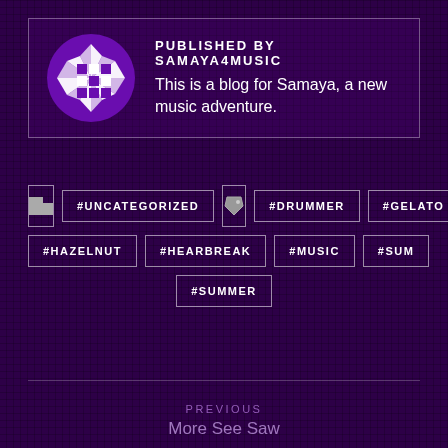[Figure (illustration): Circular purple and white logo with geometric shapes including squares and triangular fan blades]
PUBLISHED BY SAMAYA4MUSIC
This is a blog for Samaya, a new music adventure.
#UNCATEGORIZED
#DRUMMER
#GELATO
#HAZELNUT
#HEARBREAK
#MUSIC
#SUM
#SUMMER
PREVIOUS
More See Saw
NEXT
Ringamarole